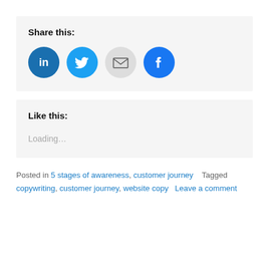Share this:
[Figure (infographic): Four circular social share buttons: LinkedIn (dark blue with 'in' logo), Twitter (light blue with bird logo), Email (grey with envelope icon), Facebook (blue with 'f' logo)]
Like this:
Loading…
Posted in 5 stages of awareness, customer journey   Tagged copywriting, customer journey, website copy   Leave a comment